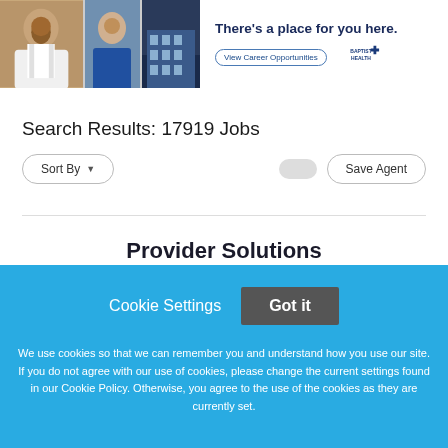[Figure (photo): Banner with photo collage of healthcare workers on the left and Baptist Health branding on the right with text 'There's a place for you here.' and a 'View Career Opportunities' button]
Search Results: 17919 Jobs
Sort By (dropdown) | Toggle | Save Agent
Provider Solutions
Cookie Settings  Got it

We use cookies so that we can remember you and understand how you use our site. If you do not agree with our use of cookies, please change the current settings found in our Cookie Policy. Otherwise, you agree to the use of the cookies as they are currently set.